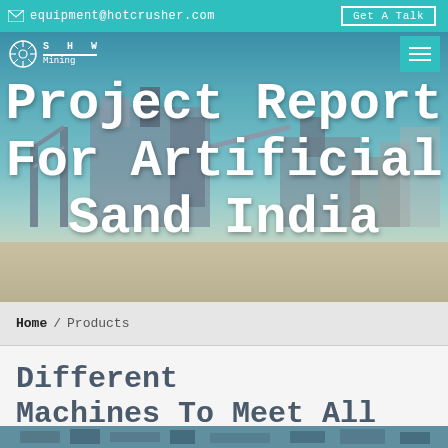equipment@hotcrusher.com  Get A Talk
[Figure (photo): Hero banner showing industrial mining equipment / sand making plant with conveyors and machinery against a blue sky; text overlay reads 'Project Report For Artificial Sand India']
Project Report For Artificial Sand India
Home / Products
Different Machines To Meet All Need
[Figure (photo): Partial bottom strip showing industrial machinery photo]